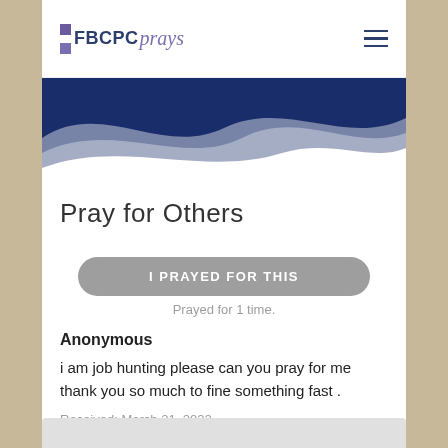FBCPCprays
[Figure (illustration): Blue and gray wave banner graphic]
Pray for Others
I PRAYED FOR THIS
Prayed for 1 time.
Anonymous
i am job hunting please can you pray for me thank you so much to fine something fast .
Received: March 21, 2022